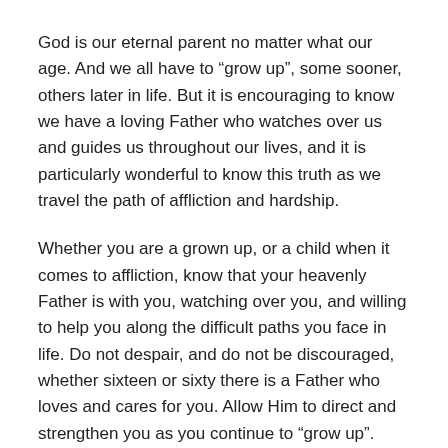God is our eternal parent no matter what our age. And we all have to “grow up”, some sooner, others later in life. But it is encouraging to know we have a loving Father who watches over us and guides us throughout our lives, and it is particularly wonderful to know this truth as we travel the path of affliction and hardship.
Whether you are a grown up, or a child when it comes to affliction, know that your heavenly Father is with you, watching over you, and willing to help you along the difficult paths you face in life. Do not despair, and do not be discouraged, whether sixteen or sixty there is a Father who loves and cares for you. Allow Him to direct and strengthen you as you continue to “grow up”.
Prayer: Dear Lord, as parents and children we face many challenges. And when we walk the path of